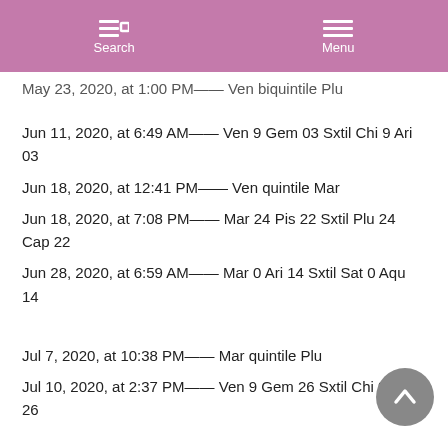Search  Menu
May 23, 2020, at 1:00 PM——  Ven biquintile Plu
Jun 11, 2020, at 6:49 AM—— Ven 9 Gem 03 Sxtil Chi 9 Ari 03
Jun 18, 2020, at 12:41 PM—— Ven quintile Mar
Jun 18, 2020, at 7:08 PM—— Mar 24 Pis 22 Sxtil Plu 24 Cap 22
Jun 28, 2020, at 6:59 AM—— Mar 0 Ari 14 Sxtil Sat 0 Aqu 14
Jul 7, 2020, at 10:38 PM—— Mar quintile Plu
Jul 10, 2020, at 2:37 PM—— Ven 9 Gem 26 Sxtil Chi 9 Ari 26